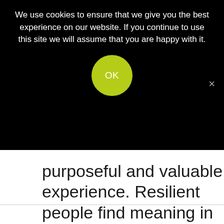We use cookies to ensure that we give you the best experience on our website. If you continue to use this site we will assume that you are happy with it.
[Figure (other): Green circular OK button for cookie consent]
purposeful and valuable experience. Resilient people find meaning in the lives they live.